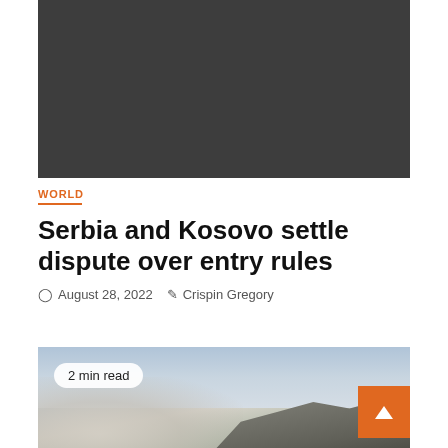[Figure (photo): Dark gray banner placeholder image at top of article page]
WORLD
Serbia and Kosovo settle dispute over entry rules
August 28, 2022   Crispin Gregory
[Figure (photo): Outdoor landscape photo showing mountains with smoke or mist, cloudy sky. Badge overlay reads '2 min read'. Orange back-to-top arrow button in bottom right.]